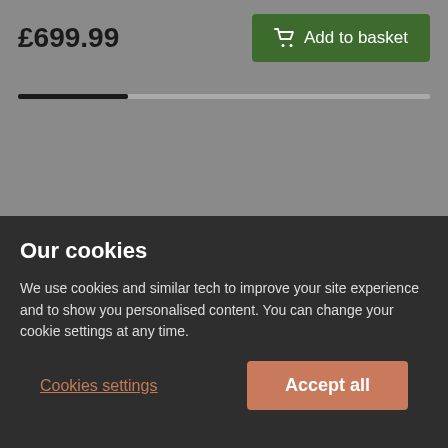£699.99
Add to basket
Real customers, real homes
Our cookies
We use cookies and similar tech to improve your site experience and to show you personalised content. You can change your cookie settings at any time.
Cookies settings
Accept all